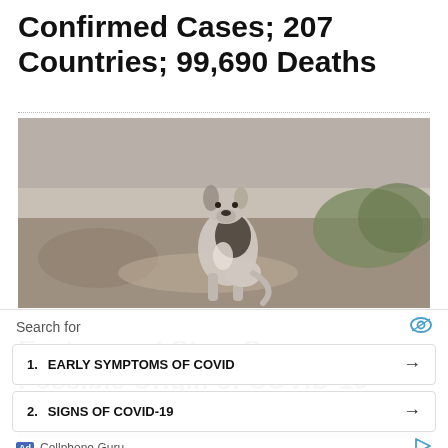Confirmed Cases; 207 Countries; 99,690 Deaths
[Figure (photo): A thin stray dog sitting on dirt ground with rocks and vegetation in the background, photographed in black and white tones.]
HEALTH
Evidence of Stray Dogs as Possible Origin of COVID-19 Pandemic
Search for
1. EARLY SYMPTOMS OF COVID →
2. SIGNS OF COVID-19 →
Ad | Cellphone Guru